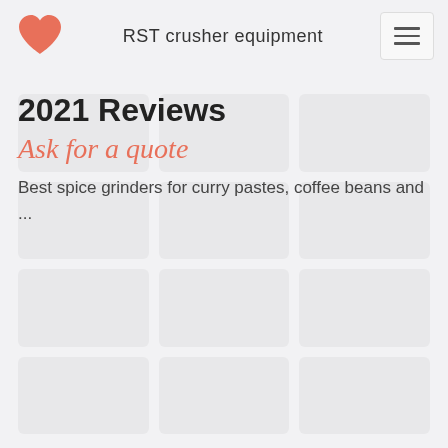RST crusher equipment
2021 Reviews
Ask for a quote
Best spice grinders for curry pastes, coffee beans and ...